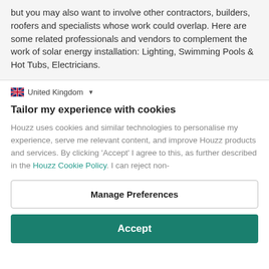but you may also want to involve other contractors, builders, roofers and specialists whose work could overlap. Here are some related professionals and vendors to complement the work of solar energy installation: Lighting, Swimming Pools & Hot Tubs, Electricians.
🇬🇧 United Kingdom ▼
Tailor my experience with cookies
Houzz uses cookies and similar technologies to personalise my experience, serve me relevant content, and improve Houzz products and services. By clicking 'Accept' I agree to this, as further described in the Houzz Cookie Policy. I can reject non-
Manage Preferences
Accept